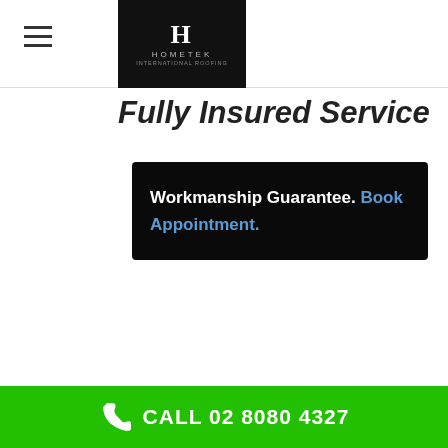Hometek — navigation header with logo
Fully Insured Service
Workmanship Guarantee. Book Appointment.
Use this as a chance to provide something to think of between the call and the time you meet on website. You're not asking to offer you an answer immediately, you're inquiring to make the time to think of it. Here's some of the things I state: "I'm actually eagerly anticipating conference you on -day, before you go, one of the important things I was hoping you might have a think about before we meet is just how much you're believing you'd like to invest in this job. ""I'm
CALL 02 8080 4327